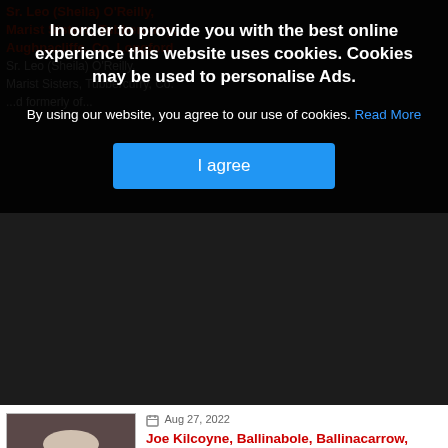In order to provide you with the best online experience this website uses cookies. Cookies may be used to personalise Ads.
By using our website, you agree to our use of cookies. Read More
I agree
Aug 27, 2022
Joe Kilcoyne, Ballinabole, Ballinacarrow, Ballymote, Co. Sligo
Joe Kilcoyne,

Ballinabole Ballinacarrow, Ballymote, Co. Sligo - peacefully at North West...
Aug 26, 2022
Patsy Walsh, Tubberroddy, Aclare, Co. Sligo
Patsy Walsh